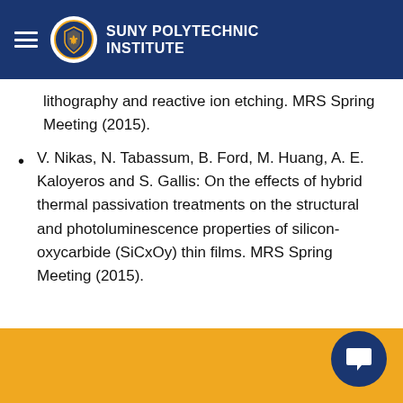SUNY POLYTECHNIC INSTITUTE
lithography and reactive ion etching. MRS Spring Meeting (2015).
V. Nikas, N. Tabassum, B. Ford, M. Huang, A. E. Kaloyeros and S. Gallis: On the effects of hybrid thermal passivation treatments on the structural and photoluminescence properties of silicon-oxycarbide (SiCxOy) thin films. MRS Spring Meeting (2015).